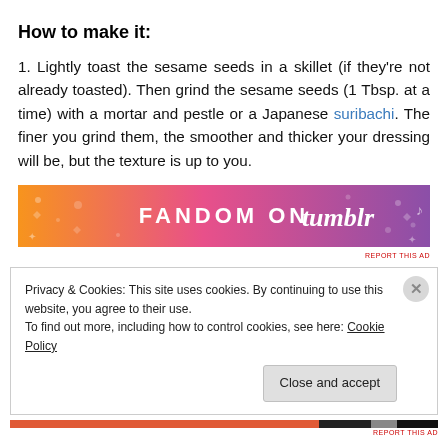How to make it:
1. Lightly toast the sesame seeds in a skillet (if they're not already toasted). Then grind the sesame seeds (1 Tbsp. at a time) with a mortar and pestle or a Japanese suribachi. The finer you grind them, the smoother and thicker your dressing will be, but the texture is up to you.
[Figure (other): Fandom on Tumblr advertisement banner with orange-to-purple gradient and decorative pattern]
Privacy & Cookies: This site uses cookies. By continuing to use this website, you agree to their use.
To find out more, including how to control cookies, see here: Cookie Policy